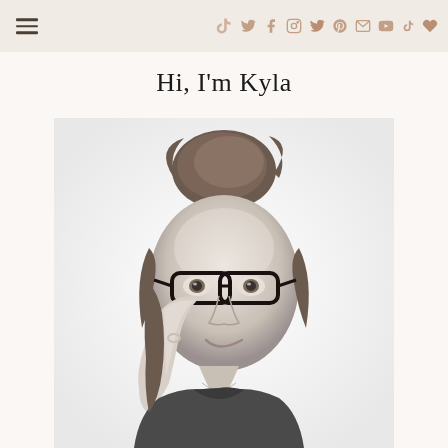Navigation header with hamburger menu and social media icons (TikTok, Twitter, Facebook, Instagram, Twitter, Pinterest, Email, YouTube, TikTok, Favorited)
Hi, I'm Kyla
[Figure (photo): Black and white portrait photo of a woman named Kyla with her hair up in a bun, wearing dark-rimmed glasses, resting her cheek on her hand and smiling at the camera.]